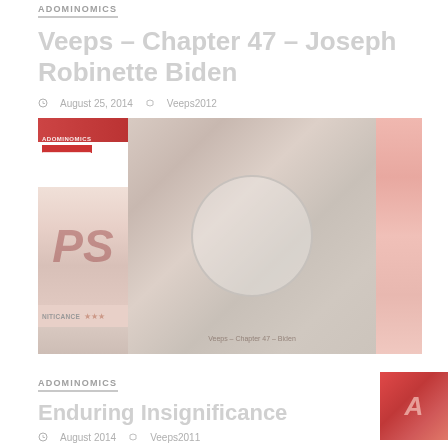ADOMINOMICS
Veeps – Chapter 47 – Joseph Robinette Biden
August 25, 2014 · Veeps2012
[Figure (illustration): Three-panel image strip showing book covers and imagery related to Joseph Robinette Biden with a circular overlay on the center panel. Left panel shows a red banner and stylized 'PS' letters with 'NITICANCE' text and stars. Center panel shows a circular ring overlay on a background figure. Right panel shows a partial red cover.]
ADOMINOMICS
Enduring Insignificance
August 2014 · Veeps2011